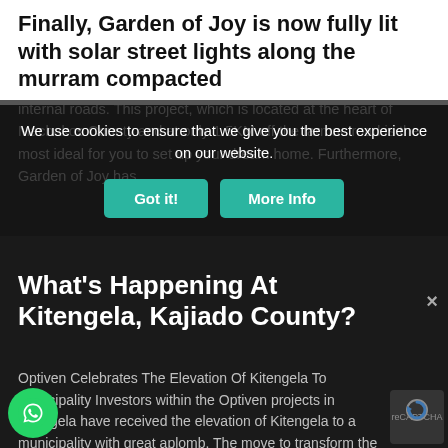Finally, Garden of Joy is now fully lit with solar street lights along the murram compacted internal roads. This project, which is located at the heart of Machakos County and at only 1.5KM off the tarmac road is the most ideal for you to set up your dream home. Furthermore, Garden of Joy has
We use cookies to ensure that we give you the best experience on our website.
Got it!
More Info
What's Happening At Kitengela, Kajiado County?
Optiven Celebrates The Elevation Of Kitengela To Municipality Investors within the Optiven projects in Kitengela have received the elevation of Kitengela to a municipality with great aplomb. The move to transform the town that has a population of 230,000 people is a milestone for a town believed to be the faste...